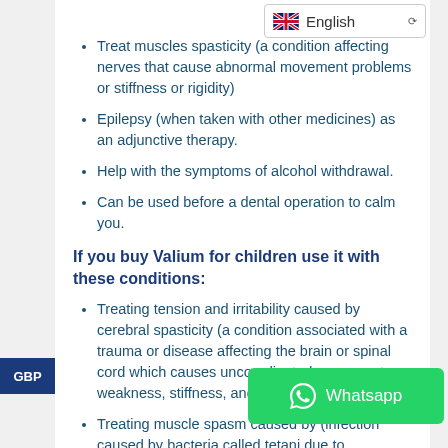[Figure (screenshot): Language selector showing UK flag and 'English' with dropdown arrow]
Treat muscles spasticity (a condition affecting nerves that cause abnormal movement problems or stiffness or rigidity)
Epilepsy (when taken with other medicines) as an adjunctive therapy.
Help with the symptoms of alcohol withdrawal.
Can be used before a dental operation to calm you.
If you buy Valium for children use it with these conditions:
Treating tension and irritability caused by cerebral spasticity (a condition associated with a trauma or disease affecting the brain or spinal cord which causes uncoordinated movements, weakness, stiffness, and rigidity).
Treating muscle spasm caused by (infection caused by bacteria called tetani due to contamination of blood with soil or dust or dirty sharp things around us) with other
[Figure (screenshot): GBP currency badge on left sidebar]
[Figure (screenshot): Whatsapp button overlay in green]